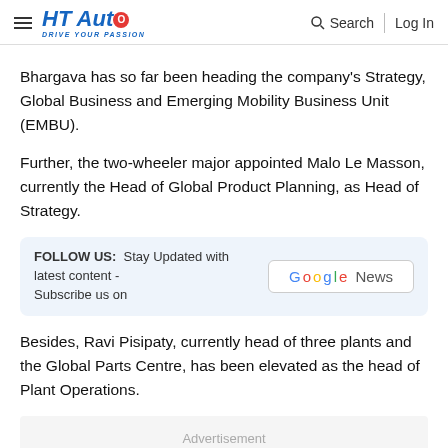HT Auto — Drive Your Passion | Search | Log In
Bhargava has so far been heading the company's Strategy, Global Business and Emerging Mobility Business Unit (EMBU).
Further, the two-wheeler major appointed Malo Le Masson, currently the Head of Global Product Planning, as Head of Strategy.
FOLLOW US: Stay Updated with latest content - Subscribe us on Google News
Besides, Ravi Pisipaty, currently head of three plants and the Global Parts Centre, has been elevated as the head of Plant Operations.
Advertisement